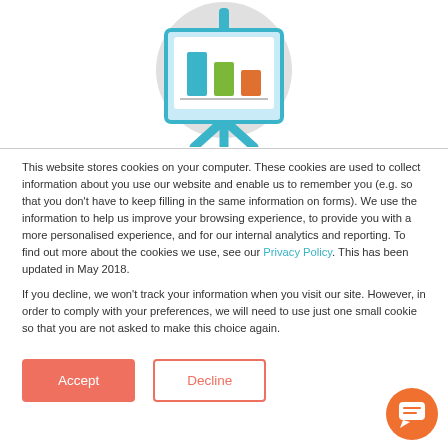[Figure (illustration): Illustration of a presentation board/easel with a bar chart showing blue, green, and orange bars, inside a light grey circle. The easel legs and frame are blue. Background is white.]
This website stores cookies on your computer. These cookies are used to collect information about you use our website and enable us to remember you (e.g. so that you don't have to keep filling in the same information on forms). We use the information to help us improve your browsing experience, to provide you with a more personalised experience, and for our internal analytics and reporting. To find out more about the cookies we use, see our Privacy Policy. This has been updated in May 2018.
If you decline, we won't track your information when you visit our site. However, in order to comply with your preferences, we will need to use just one small cookie so that you are not asked to make this choice again.
[Figure (illustration): Orange circular chat bubble button in bottom-right corner with a white speech bubble icon.]